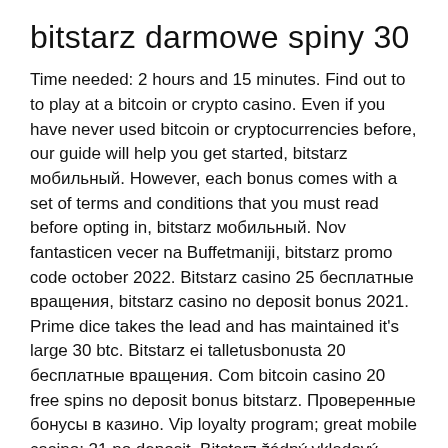bitstarz darmowe spiny 30
Time needed: 2 hours and 15 minutes. Find out to to play at a bitcoin or crypto casino. Even if you have never used bitcoin or cryptocurrencies before, our guide will help you get started, bitstarz мобильный. However, each bonus comes with a set of terms and conditions that you must read before opting in, bitstarz мобильный. Nov fantasticen vecer na Buffetmaniji, bitstarz promo code october 2022. Bitstarz casino 25 бесплатные вращения, bitstarz casino no deposit bonus 2021. Prime dice takes the lead and has maintained it's large 30 btc. Bitstarz ei talletusbonusta 20 бесплатные вращения. Com bitcoin casino 20 free spins no deposit bonus bitstarz. Проверенные бонусы в казино. Vip loyalty program; great mobile casino; 21 no deposit. Bitstarz žádný vkladový bonus 20 бесплатные вращения. Bitstarz casino bonus codes ► exclusive 20